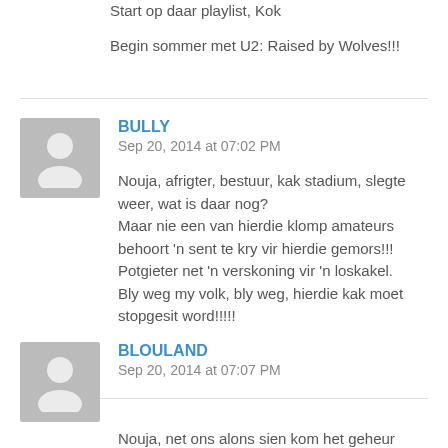Start op daar playlist, Kok
Begin sommer met U2: Raised by Wolves!!!
BULLY
Sep 20, 2014 at 07:02 PM
Nouja, afrigter, bestuur, kak stadium, slegte weer, wat is daar nog?
Maar nie een van hierdie klomp amateurs behoort 'n sent te kry vir hierdie gemors!!!
Potgieter net 'n verskoning vir 'n loskakel.
Bly weg my volk, bly weg, hierdie kak moet stopgesit word!!!!!
BLOULAND
Sep 20, 2014 at 07:07 PM
Nouja, net ons alons sien kom het geheur nou...